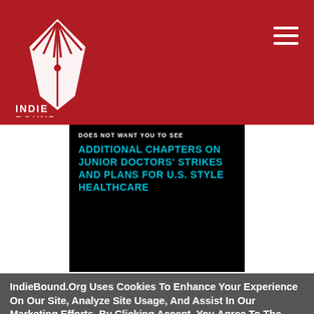IndieBound logo and navigation header
[Figure (screenshot): Book banner with text on black background: 'DOES NOT WANT YOU TO SEE ADDITIONAL CHAPTERS ON JUNIOR DOCTORS' STRIKES AND PLANS FOR U.S. STYLE HEALTHCARE' in cyan/white bold uppercase text]
How To Dismantle The Nhs In 10 Easy Steps
IndieBound.Org Uses Cookies To Enhance Your Experience On Our Site, Analyze Site Usage, And Assist In Our Marketing Efforts. By Clicking Accept, You Agree To The Storing Of Cookies On Your Device. View Our Cookie Policy.
Give me more info